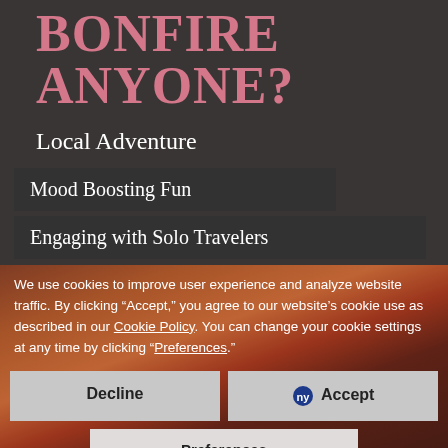BONFIRE ANYONE?
Local Adventure
Mood Boosting Fun
Engaging with Solo Travelers
[Figure (photo): Background photo of a crowd of people at an outdoor event with warm orange/red tones]
We use cookies to improve user experience and analyze website traffic. By clicking “Accept,” you agree to our website’s cookie use as described in our Cookie Policy. You can change your cookie settings at any time by clicking “Preferences.”
Decline
Accept
Preferences